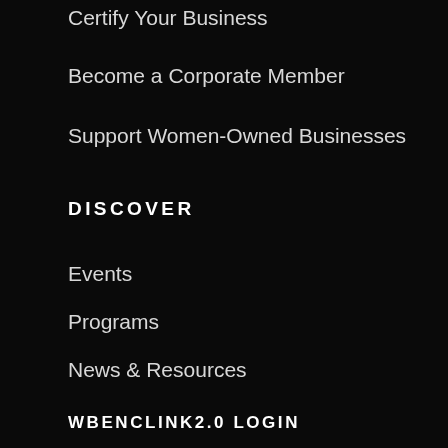Certify Your Business
Become a Corporate Member
Support Women-Owned Businesses
DISCOVER
Events
Programs
News & Resources
WBENCLINK2.0 LOGIN
STAY CONNECTED
Subscribe to our email newsletters and alerts for the latest news, opportunities, and resources.